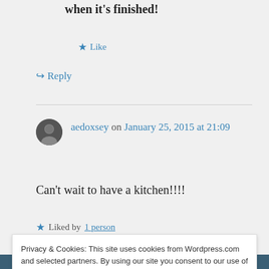when it's finished!
★ Like
↪ Reply
aedoxsey on January 25, 2015 at 21:09
Can't wait to have a kitchen!!!!
★ Liked by 1 person
Privacy & Cookies: This site uses cookies from Wordpress.com and selected partners. By using our site you consent to our use of cookies. To find out more, as well as how to remove or block cookies, see here: Our Privacy & Cookie Policy
Close and accept